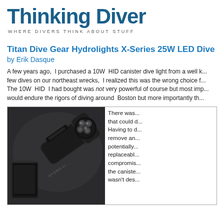Thinking Diver
WHERE DIVERS THINK ABOUT STUFF
Titan Dive Gear Hydrolights X-Series 25W LED Dive Lig...
by Erik Dasque
A few years ago, I purchased a 10W HID canister dive light from a well k... few dives on our northeast wrecks, I realized this was the wrong choice f... The 10W HID I had bought was not very powerful of course but most imp... would endure the rigors of diving around Boston but more importantly th...
[Figure (photo): Close-up photo of a black dive light (Hydro Light branded) with multiple LED lenses, alongside a black battery canister]
There was... that could d... Having to d... remove an... potentially... replaceable... compromis... the caniste... wasn't des...